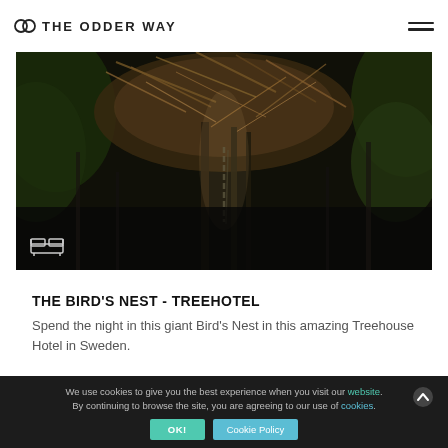OW THE ODDER WAY
[Figure (photo): Dark atmospheric photo of a giant bird's nest structure made of branches and twigs high in a forest, with tree trunks visible below and light filtering through. A bed icon overlay is visible at the bottom left.]
THE BIRD'S NEST - TREEHOTEL
Spend the night in this giant Bird's Nest in this amazing Treehouse Hotel in Sweden.
We use cookies to give you the best experience when you visit our website. By continuing to browse the site, you are agreeing to our use of cookies.